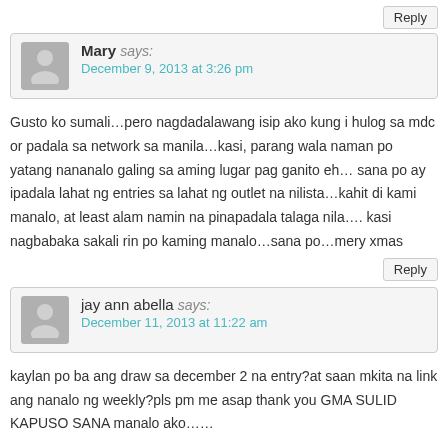Reply
Mary says: December 9, 2013 at 3:26 pm
Gusto ko sumali…pero nagdadalawang isip ako kung i hulog sa mdc or padala sa network sa manila…kasi, parang wala naman po yatang nananalo galing sa aming lugar pag ganito eh… sana po ay ipadala lahat ng entries sa lahat ng outlet na nilista…kahit di kami manalo, at least alam namin na pinapadala talaga nila…. kasi nagbabaka sakali rin po kaming manalo…sana po…mery xmas
Reply
jay ann abella says: December 11, 2013 at 11:22 am
kaylan po ba ang draw sa december 2 na entry?at saan mkita na link ang nanalo ng weekly?pls pm me asap thank you GMA SULID KAPUSO SANA manalo ako……